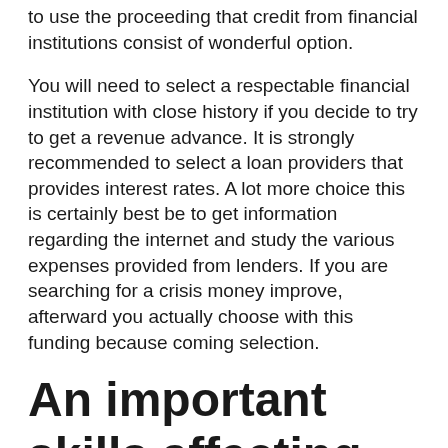to use the proceeding that credit from financial institutions consist of wonderful option.
You will need to select a respectable financial institution with close history if you decide to try to get a revenue advance. It is strongly recommended to select a loan providers that provides interest rates. A lot more choice this is certainly best be to get information regarding the internet and study the various expenses provided from lenders. If you are searching for a crisis money improve, afterward you actually choose with this funding because coming selection.
An important skills affecting debts will be the payment choice that is fast.
If you have availed loans, you can payback extent this is certainly overall obligations. The cost energy range from just one week to a few months that are most. Therefore, your